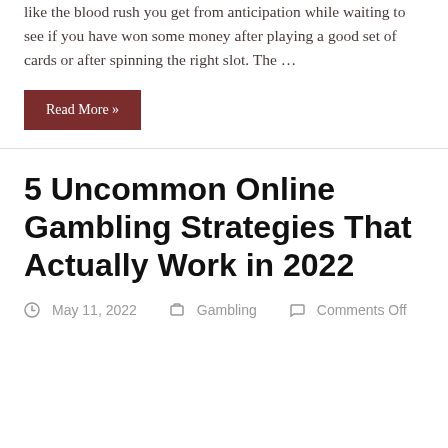like the blood rush you get from anticipation while waiting to see if you have won some money after playing a good set of cards or after spinning the right slot. The …
Read More »
5 Uncommon Online Gambling Strategies That Actually Work in 2022
May 11, 2022   Gambling   Comments Off